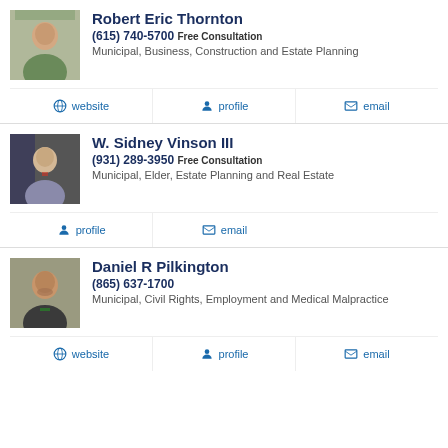Robert Eric Thornton
(615) 740-5700 Free Consultation
Municipal, Business, Construction and Estate Planning
website
profile
email
W. Sidney Vinson III
(931) 289-3950 Free Consultation
Municipal, Elder, Estate Planning and Real Estate
profile
email
Daniel R Pilkington
(865) 637-1700
Municipal, Civil Rights, Employment and Medical Malpractice
website
profile
email